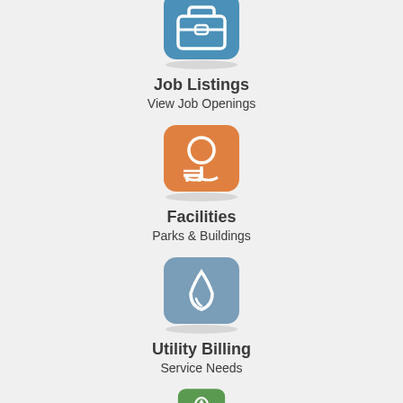[Figure (illustration): Blue rounded square icon with a briefcase/portfolio symbol in white]
Job Listings
View Job Openings
[Figure (illustration): Orange rounded square icon with a tree and park bench symbol in white]
Facilities
Parks & Buildings
[Figure (illustration): Steel blue rounded square icon with a water drop symbol in white]
Utility Billing
Service Needs
[Figure (illustration): Green rounded square icon with a recycling symbol in white (partially visible at bottom)]